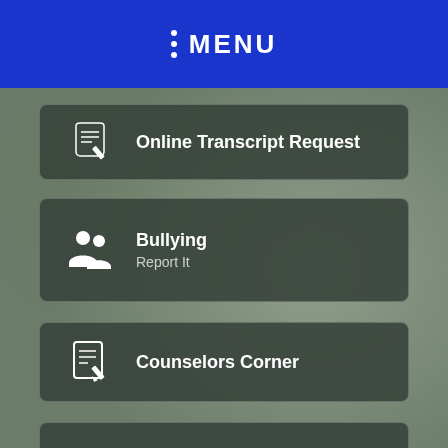MENU
Online Transcript Request
Bullying
Report It
Counselors Corner
School Bell
Arrival & Dismissal
Athletics